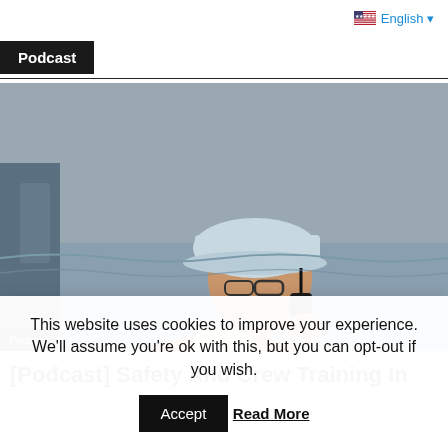English ▾
Podcast
[Figure (photo): A maritime worker in an orange safety vest and white hard hat using a walkie-talkie radio, with ocean/sea background visible. An overlay label reads 'Podcast' in the bottom-left corner.]
[Podcast] Safety And Crew Training In
This website uses cookies to improve your experience. We'll assume you're ok with this, but you can opt-out if you wish.
Accept   Read More